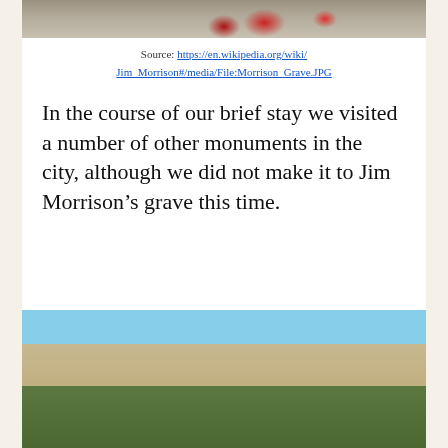[Figure (photo): Top portion of a photo showing flowers (roses) at what appears to be Jim Morrison's grave]
Source: https://en.wikipedia.org/wiki/Jim_Morrison#/media/File:Morrison_Grave.JPG
In the course of our brief stay we visited a number of other monuments in the city, although we did not make it to Jim Morrison’s grave this time.
[Figure (photo): Photo of a Paris building facade with ornate stone architecture and green trees in the foreground, with a statue visible at the right edge]